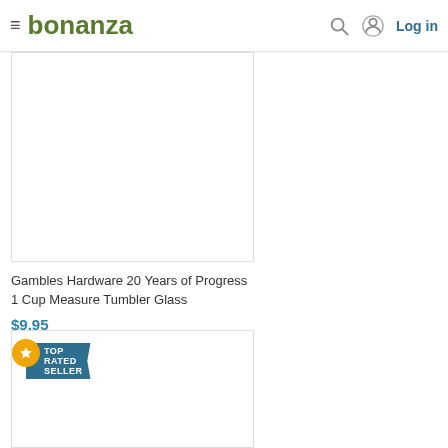bonanza — Log in
[Figure (photo): Product image placeholder for Gambles Hardware 20 Years of Progress 1 Cup Measure Tumbler Glass — white/empty product image box]
Gambles Hardware 20 Years of Progress 1 Cup Measure Tumbler Glass
$9.95
[Figure (photo): Second product listing image box with TOP RATED SELLER badge — empty white image area]